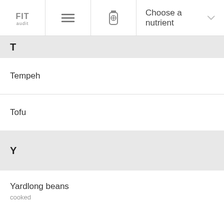FIT audit | ≡ | [bottle icon] | Choose a nutrient
T
Tempeh
Tofu
Y
Yardlong beans
cooked